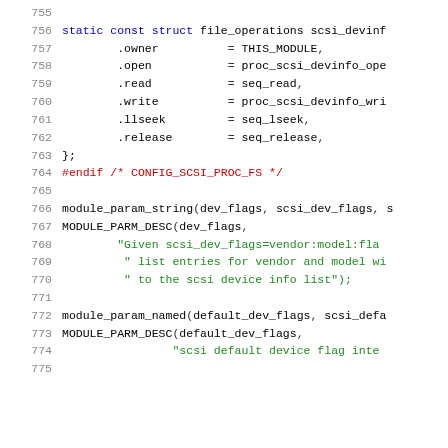[Figure (screenshot): Source code listing showing C code lines 755-775, featuring a static const struct file_operations definition and module_param_string/MODULE_PARM_DESC calls, with line numbers on the left, keywords in blue, string literals in green, and preprocessor directives in red.]